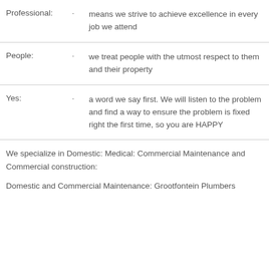Professional: · means we strive to achieve excellence in every job we attend
People: · we treat people with the utmost respect to them and their property
Yes: · a word we say first. We will listen to the problem and find a way to ensure the problem is fixed right the first time, so you are HAPPY
We specialize in Domestic: Medical: Commercial Maintenance and Commercial construction:
Domestic and Commercial Maintenance: Grootfontein Plumbers